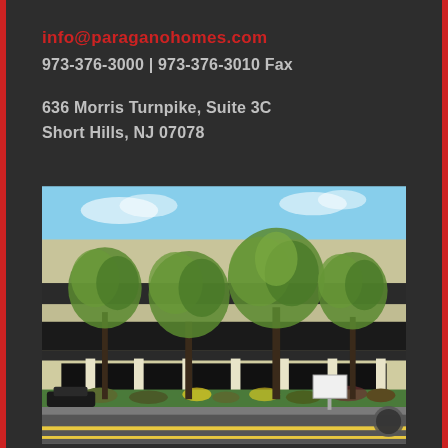info@paraganohomes.com
973-376-3000 | 973-376-3010 Fax
636 Morris Turnpike, Suite 3C
Short Hills, NJ 07078
[Figure (photo): Exterior photo of a commercial office building at 636 Morris Turnpike, Short Hills, NJ. The building is a low-rise structure with a flat roof, beige/cream facade with dark trim, large dark glass windows, and white support columns. Several deciduous trees with spring foliage line the front of the building. Cars are parked in the lot. A street runs in the foreground. The sky is blue with light clouds.]